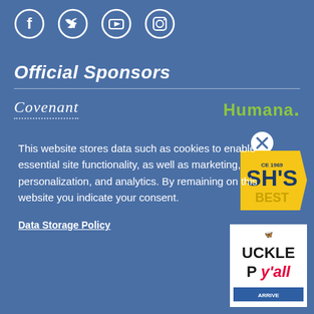[Figure (logo): Row of four social media icons in white circles: Facebook, Twitter, YouTube, Instagram]
Official Sponsors
[Figure (logo): Covenant logo in white italic serif text with dotted underline]
[Figure (logo): Humana. logo in green bold text]
[Figure (logo): Bush's Best logo - yellow pennant shape with SH'S and EST text]
This website stores data such as cookies to enable essential site functionality, as well as marketing, personalization, and analytics. By remaining on this website you indicate your consent.
[Figure (logo): Buckle Up y'all logo with red cursive text and butterfly graphic, with Arrive Alive text at bottom]
Data Storage Policy